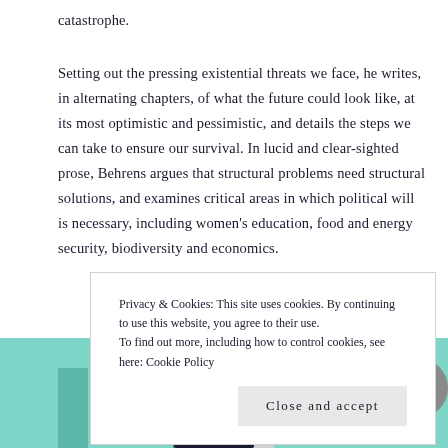catastrophe.
Setting out the pressing existential threats we face, he writes, in alternating chapters, of what the future could look like, at its most optimistic and pessimistic, and details the steps we can take to ensure our survival. In lucid and clear-sighted prose, Behrens argues that structural problems need structural solutions, and examines critical areas in which political will is necessary, including women's education, food and energy security, biodiversity and economics.
Privacy & Cookies: This site uses cookies. By continuing to use this website, you agree to their use.
To find out more, including how to control cookies, see here: Cookie Policy
Close and accept
Y
[Figure (illustration): Book cover partially visible at bottom of page with teal/mint green background band, gray circle on right, and large decorative letter Y on left. Text on book reads MACHINE.]